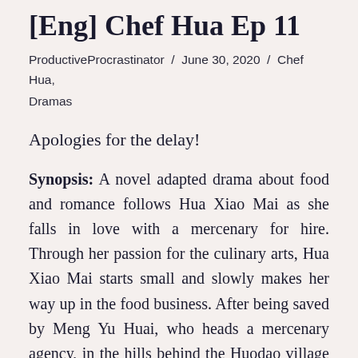[Eng] Chef Hua Ep 11
ProductiveProcrastinator / June 30, 2020 / Chef Hua, Dramas
Apologies for the delay!
Synopsis: A novel adapted drama about food and romance follows Hua Xiao Mai as she falls in love with a mercenary for hire. Through her passion for the culinary arts, Hua Xiao Mai starts small and slowly makes her way up in the food business. After being saved by Meng Yu Huai, who heads a mercenary agency, in the hills behind the Huodao village where she has just moved in to stay with her elder sister. Hua Xiao Mai falls in love. She does her best to attract his attention but he just doesn't get her feelings. But as Xiao Mai shows her intelligence, her culinary skills and her